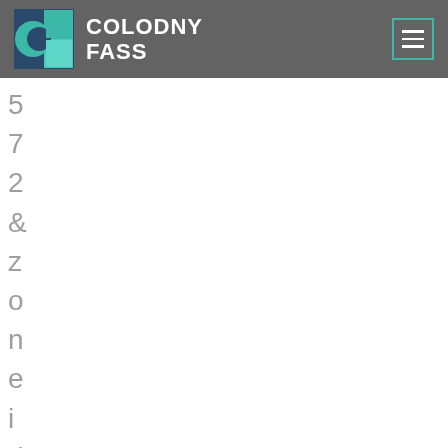[Figure (logo): Colodny Fass law firm logo with teal and dark blue square icon and white bold text reading COLODNY FASS on a dark grey header bar with hamburger menu icon on the right]
5 7 2 & z o n e i d = 6 3 &